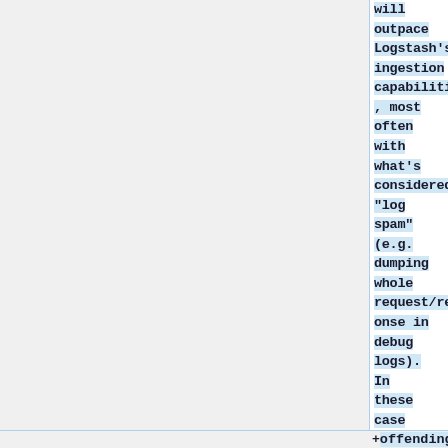will outpace Logstash's ingestion capabilities, most often with what's considered "log spam" (e.g. dumping whole request/response in debug logs). In these case one solution is to drop the offending